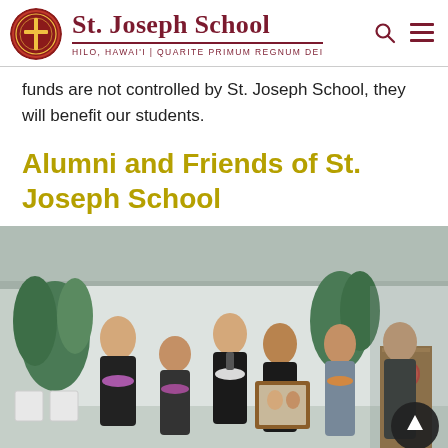St. Joseph School — HILO, HAWAI'I | QUARITE PRIMUM REGNUM DEI
funds are not controlled by St. Joseph School, they will benefit our students.
Alumni and Friends of St. Joseph School
[Figure (photo): Group photo of six people standing together at an event, some wearing leis, one person holding a framed photograph, with tropical plants in the background and a podium visible on the right side.]